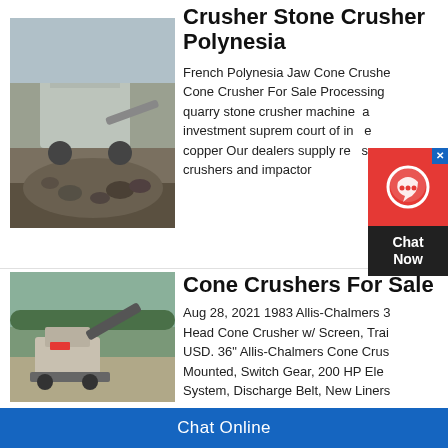[Figure (photo): Stone crusher / mobile crushing plant with aggregate pile]
Crusher Stone Crusher Polynesia
French Polynesia Jaw Cone Crusher Cone Crusher For Sale Processing quarry stone crusher machine a investment suprem court of in e copper Our dealers supply re s crushers and impactor
[Figure (other): Chat Now widget overlay with red icon and dark chat now label]
[Figure (photo): Cone crusher machine outdoors with conveyor belt]
Cone Crushers For Sale
Aug 28, 2021 1983 Allis-Chalmers 3 Head Cone Crusher w/ Screen, Trai USD. 36" Allis-Chalmers Cone Crus Mounted, Switch Gear, 200 HP Ele System, Discharge Belt, New Liners
Chat Online